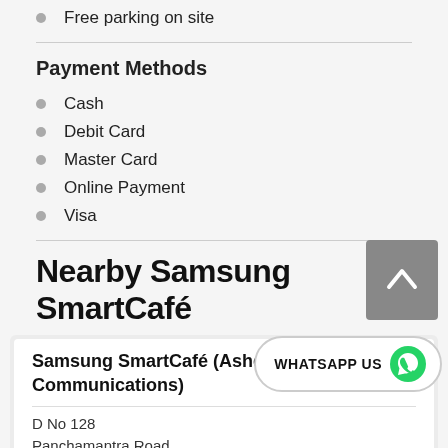Free parking on site
Payment Methods
Cash
Debit Card
Master Card
Online Payment
Visa
Nearby Samsung SmartCafé
Samsung SmartCafé (Ashetel Communications)
D No 128
Panchamantra Road